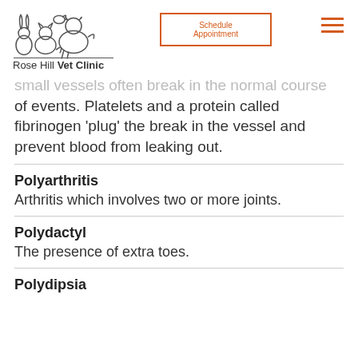Rose Hill Vet Clinic — Schedule Appointment
small vessels often break in the normal course of events. Platelets and a protein called fibrinogen 'plug' the break in the vessel and prevent blood from leaking out.
Polyarthritis
Arthritis which involves two or more joints.
Polydactyl
The presence of extra toes.
Polydipsia